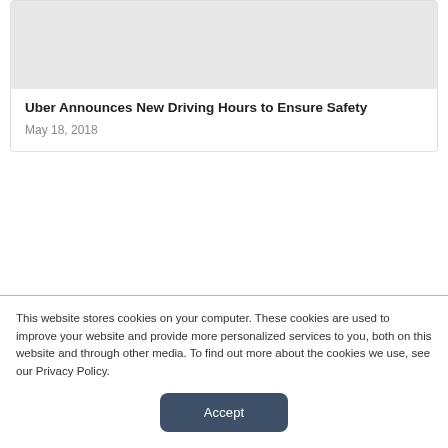[Figure (photo): Light gray placeholder image at top of article card]
Uber Announces New Driving Hours to Ensure Safety
May 18, 2018
This website stores cookies on your computer. These cookies are used to improve your website and provide more personalized services to you, both on this website and through other media. To find out more about the cookies we use, see our Privacy Policy.